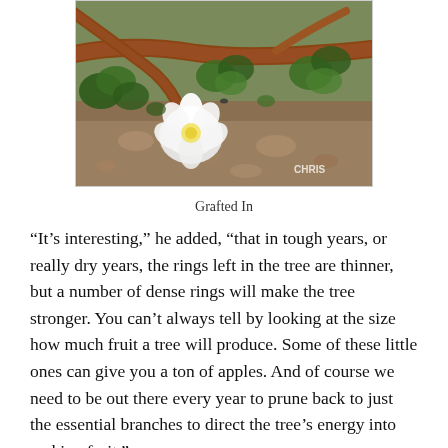[Figure (photo): Close-up photograph of tree branches with white blossoms and green leaves, with a 'CHRIS' watermark in the lower right corner. Brown woody branches visible against a rocky/soil background.]
Grafted In
“It’s interesting,” he added, “that in tough years, or really dry years, the rings left in the tree are thinner, but a number of dense rings will make the tree stronger. You can’t always tell by looking at the size how much fruit a tree will produce. Some of these little ones can give you a ton of apples. And of course we need to be out there every year to prune back to just the essential branches to direct the tree’s energy into making fruit.”